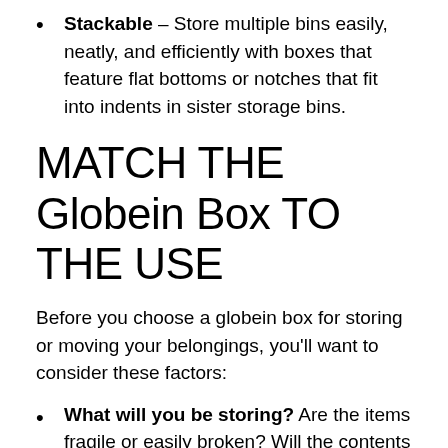Stackable – Store multiple bins easily, neatly, and efficiently with boxes that feature flat bottoms or notches that fit into indents in sister storage bins.
MATCH THE Globein Box TO THE USE
Before you choose a globein box for storing or moving your belongings, you'll want to consider these factors:
What will you be storing? Are the items fragile or easily broken? Will the contents easily absorb odors? How valuable are these items?
Where will you be storing these items?